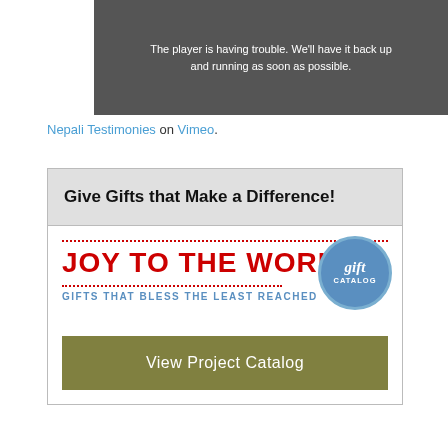[Figure (screenshot): Video player error screen showing a person in red, with message: The player is having trouble. We'll have it back up and running as soon as possible.]
Nepali Testimonies on Vimeo.
Give Gifts that Make a Difference!
[Figure (infographic): Joy to the World gift catalog banner with red dotted borders, red bold text 'JOY TO THE WORLD', blue subtitle 'GIFTS THAT BLESS THE LEAST REACHED', and a blue circular badge saying 'gift CATALOG']
View Project Catalog